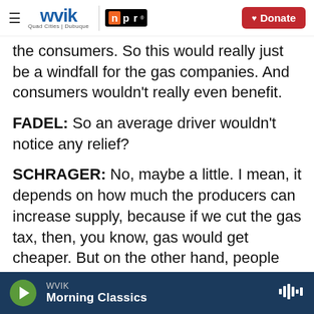WVIK | Quad Cities | Dubuque — NPR — Donate
the consumers. So this would really just be a windfall for the gas companies. And consumers wouldn't really even benefit.
FADEL: So an average driver wouldn't notice any relief?
SCHRAGER: No, maybe a little. I mean, it depends on how much the producers can increase supply, because if we cut the gas tax, then, you know, gas would get cheaper. But on the other hand, people would demand more. So that would just drive prices back up. Now, if producers could match that
WVIK Morning Classics